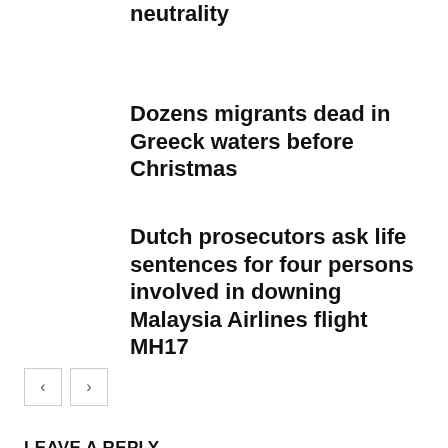neutrality
Dozens migrants dead in Greeck waters before Christmas
Dutch prosecutors ask life sentences for four persons involved in downing Malaysia Airlines flight MH17
LEAVE A REPLY
Comment: